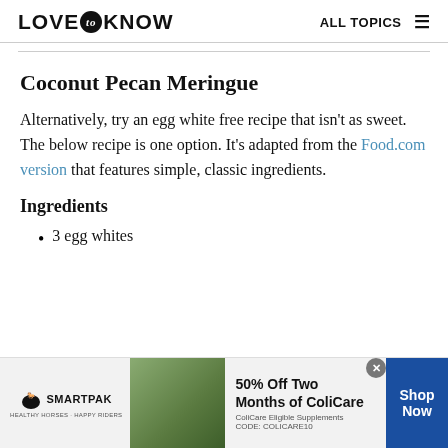LOVE to KNOW   ALL TOPICS
Coconut Pecan Meringue
Alternatively, try an egg white free recipe that isn't as sweet. The below recipe is one option. It's adapted from the Food.com version that features simple, classic ingredients.
Ingredients
3 egg whites
[Figure (other): SmartPak advertisement banner: 50% Off Two Months of ColiCare, ColiCare Eligible Supplements, CODE: COLICARE10, Shop Now]